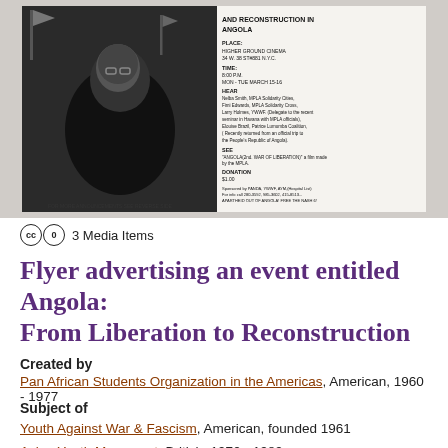[Figure (photo): Scanned black-and-white flyer titled 'Angola: From Liberation and Reconstruction in Angola'. Includes event details: Place: Higher Ground Cinema, 34 W. 38 Street, NYC. Time: 8:00 PM, Mon-Tue March 15-16. Lists speakers and film screening information. Donation $1.00.]
3 Media Items
Flyer advertising an event entitled Angola: From Liberation to Reconstruction
Created by
Pan African Students Organization in the Americas, American, 1960 - 1977
Subject of
Youth Against War & Fascism, American, founded 1961
Asian Youth Movement, British, 1970 - 1989